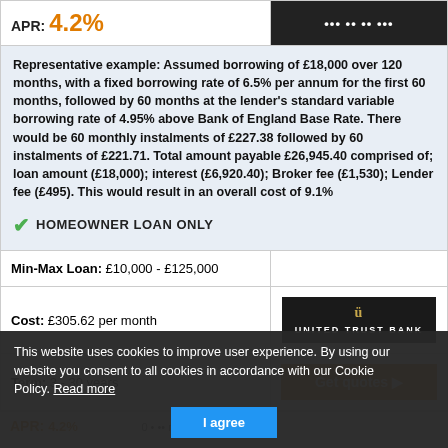APR: 4.2%
Representative example: Assumed borrowing of £18,000 over 120 months, with a fixed borrowing rate of 6.5% per annum for the first 60 months, followed by 60 months at the lender's standard variable borrowing rate of 4.95% above Bank of England Base Rate. There would be 60 monthly instalments of £227.38 followed by 60 instalments of £221.71. Total amount payable £26,945.40 comprised of; loan amount (£18,000); interest (£6,920.40); Broker fee (£1,530); Lender fee (£495). This would result in an overall cost of 9.1%
HOMEOWNER LOAN ONLY
Min-Max Loan: £10,000 - £125,000
[Figure (logo): United Trust Bank logo - dark background with gold pillar icon and white serif text]
Cost: £305.62 per month
Term: 3 - 30 years
Get quotes ▶
This website uses cookies to improve user experience. By using our website you consent to all cookies in accordance with our Cookie Policy. Read more
I agree